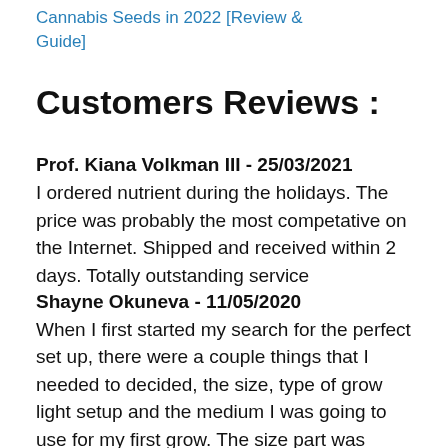Cannabis Seeds in 2022 [Review & Guide]
Customers Reviews :
Prof. Kiana Volkman III - 25/03/2021
I ordered nutrient during the holidays. The price was probably the most competative on the Internet. Shipped and received within 2 days. Totally outstanding service
Shayne Okuneva - 11/05/2020
When I first started my search for the perfect set up, there were a couple things that I needed to decided, the size, type of grow light setup and the medium I was going to use for my first grow. The size part was easy, space is limited to only my closet so this